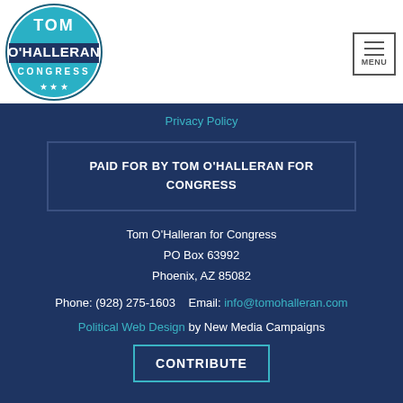[Figure (logo): Tom O'Halleran for Congress circular logo with teal background, white text reading TOM O'HALLERAN CONGRESS with three stars]
[Figure (other): Menu button with three horizontal bars and MENU label]
Privacy Policy
PAID FOR BY TOM O'HALLERAN FOR CONGRESS
Tom O'Halleran for Congress
PO Box 63992
Phoenix, AZ 85082
Phone: (928) 275-1603    Email: info@tomohalleran.com
Political Web Design by New Media Campaigns
CONTRIBUTE